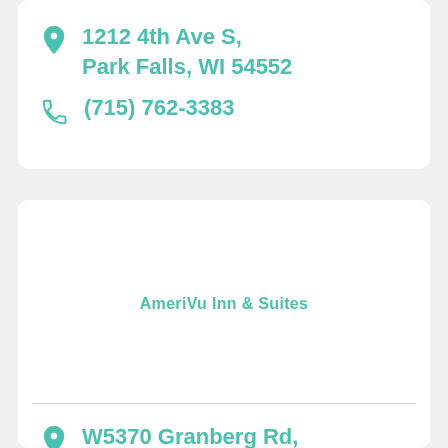1212 4th Ave S, Park Falls, WI 54552
(715) 762-3383
AmeriVu Inn & Suites
W5370 Granberg Rd, Prentice, Wisconsin 54556